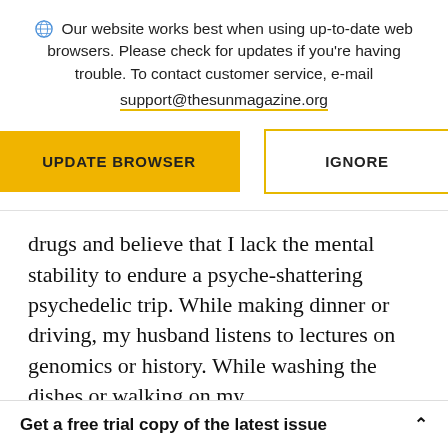Our website works best when using up-to-date web browsers. Please check for updates if you're having trouble. To contact customer service, e-mail support@thesunmagazine.org
[Figure (other): Two buttons: a filled yellow 'UPDATE BROWSER' button and an outlined yellow 'IGNORE' button]
drugs and believe that I lack the mental stability to endure a psyche-shattering psychedelic trip. While making dinner or driving, my husband listens to lectures on genomics or history. While washing the dishes or walking on my
Get a free trial copy of the latest issue